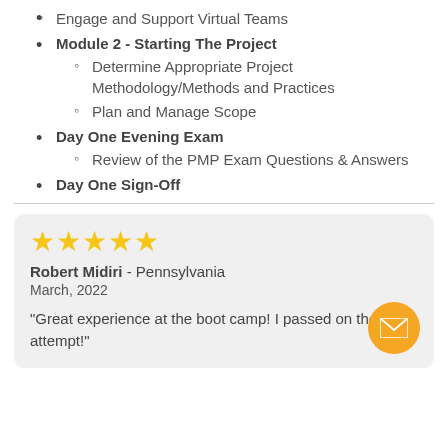Engage and Support Virtual Teams
Module 2 - Starting The Project
Determine Appropriate Project Methodology/Methods and Practices
Plan and Manage Scope
Day One Evening Exam
Review of the PMP Exam Questions & Answers
Day One Sign-Off
★★★★★
Robert Midiri - Pennsylvania
March, 2022
"Great experience at the boot camp! I passed on the first attempt!"